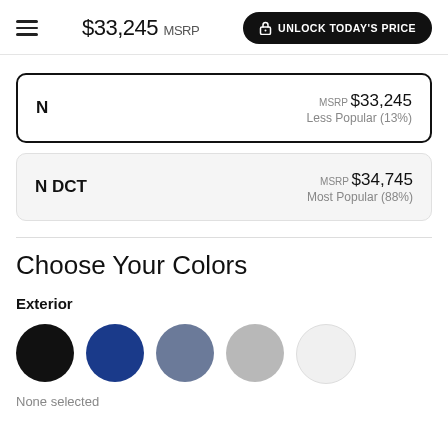$33,245 MSRP  UNLOCK TODAY'S PRICE
N  MSRP $33,245  Less Popular (13%)
N DCT  MSRP $34,745  Most Popular (88%)
Choose Your Colors
Exterior
[Figure (illustration): Five circular color swatches: black, dark blue, slate blue-gray, silver/light gray, white]
None selected